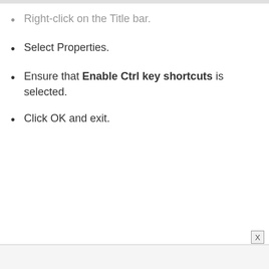Right-click on the Title bar.
Select Properties.
Ensure that Enable Ctrl key shortcuts is selected.
Click OK and exit.